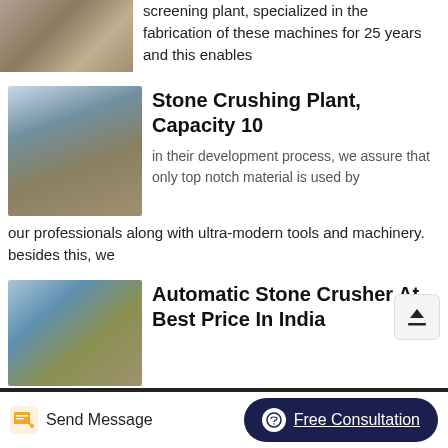[Figure (photo): Partial image of industrial crushing/screening plant machinery, cropped at top]
screening plant, specialized in the fabrication of these machines for 25 years and this enables
[Figure (photo): Stone crushing plant with conveyor belts and industrial structure, trees in background]
Stone Crushing Plant, Capacity 10
in their development process, we assure that only top notch material is used by our professionals along with ultra-modern tools and machinery. besides this, we
[Figure (photo): Automatic stone crusher machinery with blue sky and trees in background]
Automatic Stone Crusher At Best Price In India
Send Message   Free Consultation